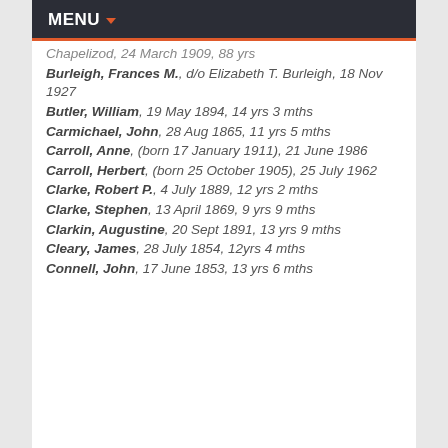MENU
Chapelizod, 24 March 1909, 88 yrs
Burleigh, Frances M., d/o Elizabeth T. Burleigh, 18 Nov 1927
Butler, William, 19 May 1894, 14 yrs 3 mths
Carmichael, John, 28 Aug 1865, 11 yrs 5 mths
Carroll, Anne, (born 17 January 1911), 21 June 1986
Carroll, Herbert, (born 25 October 1905), 25 July 1962
Clarke, Robert P., 4 July 1889, 12 yrs 2 mths
Clarke, Stephen, 13 April 1869, 9 yrs 9 mths
Clarkin, Augustine, 20 Sept 1891, 13 yrs 9 mths
Cleary, James, 28 July 1854, 12yrs 4 mths
Connell, John, 17 June 1853, 13 yrs 6 mths